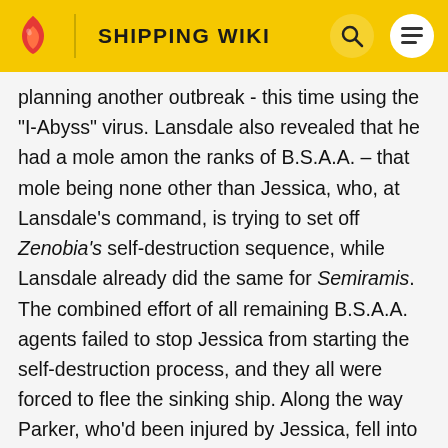SHIPPING WIKI
planning another outbreak - this time using the "I-Abyss" virus. Lansdale also revealed that he had a mole among the ranks of B.S.A.A. – that mole being none other than Jessica, who, at Lansdale's command, is trying to set off Zenobia's self-destruction sequence, while Lansdale already did the same for Semiramis. The combined effort of all remaining B.S.A.A. agents failed to stop Jessica from starting the self-destruction process, and they all were forced to flee the sinking ship. Along the way Parker, who'd been injured by Jessica, fell into the fire, thus leaving only Chris and Jill to escape. They both managed to reach the deck and not get caught by both spreading fire and the remaining infected, but when they tried to reach the evac chopper it was suddenly attacked and